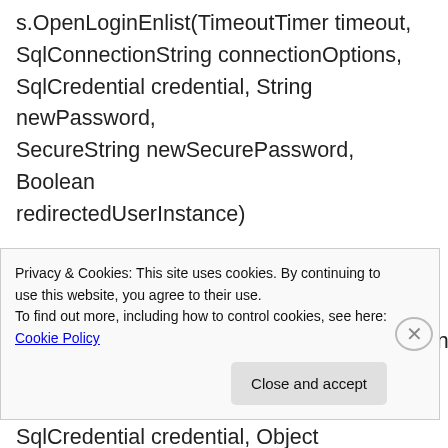s.OpenLoginEnlist(TimeoutTimer timeout, SqlConnectionString connectionOptions, SqlCredential credential, String newPassword, SecureString newSecurePassword, Boolean redirectedUserInstance)
at
System.Data.SqlClient.SqlInternalConnectionTds..ctor(DbConnectionPoolIdentity identity, SqlConnectionString connectionOptions, SqlCredential credential, Object providerInfo, String newPassword, SecureString
Privacy & Cookies: This site uses cookies. By continuing to use this website, you agree to their use.
To find out more, including how to control cookies, see here: Cookie Policy
Close and accept